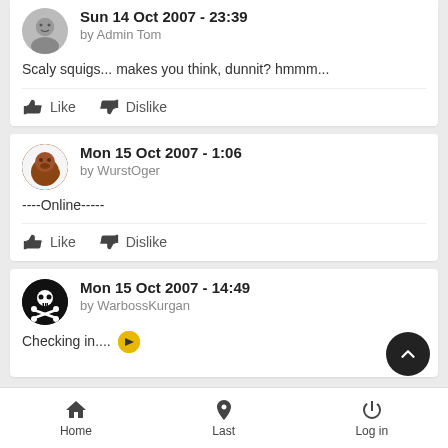Sun 14 Oct 2007 - 23:39 by Admin Tom
Scaly squigs... makes you think, dunnit? hmmm...
Like   Dislike
Mon 15 Oct 2007 - 1:06 by WurstOger
----Online-----
Like   Dislike
Mon 15 Oct 2007 - 14:49 by WarbossKurgan
Checking in....
Home   Last   Log in